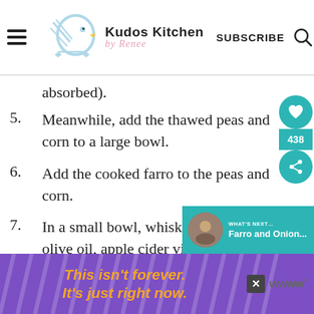Kudos Kitchen by Renee | SUBSCRIBE
absorbed).
5. Meanwhile, add the thawed peas and corn to a large bowl.
6. Add the cooked farro to the peas and corn.
7. In a small bowl, whisk together the olive oil, apple cider vinegar, honey, and Dijon.
8. Pour the vinaigrette over the farro pea salad and stir well.
9. Season with the remaining salt and
[Figure (screenshot): Related content popup: Farro and Onion...]
This isn't forever. It's just right now.